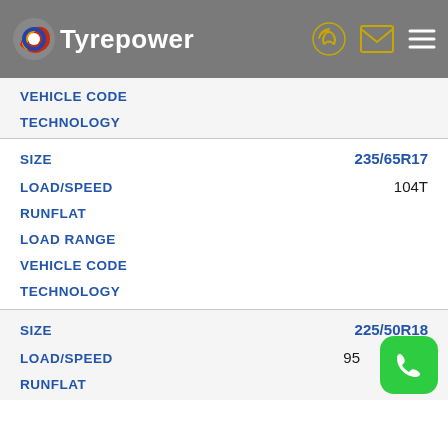Tyrepower
| Field | Value |
| --- | --- |
| VEHICLE CODE |  |
| TECHNOLOGY |  |
| SIZE | 235/65R17 |
| LOAD/SPEED | 104T |
| RUNFLAT |  |
| LOAD RANGE |  |
| VEHICLE CODE |  |
| TECHNOLOGY |  |
| SIZE | 225/50R18 |
| LOAD/SPEED | 95 |
| RUNFLAT |  |